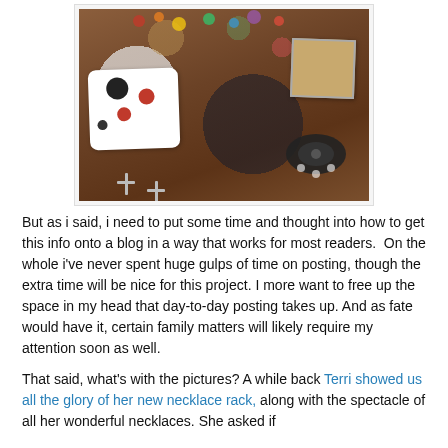[Figure (photo): Photo of jewelry items on a wooden table, including cross earrings, a business card with colorful circles, a small framed photo card, and a black rhinestone hair accessory with flower details.]
But as i said, i need to put some time and thought into how to get this info onto a blog in a way that works for most readers.  On the whole i've never spent huge gulps of time on posting, though the extra time will be nice for this project. I more want to free up the space in my head that day-to-day posting takes up. And as fate would have it, certain family matters will likely require my attention soon as well.
That said, what's with the pictures? A while back Terri showed us all the glory of her new necklace rack, along with the spectacle of all her wonderful necklaces. She asked if